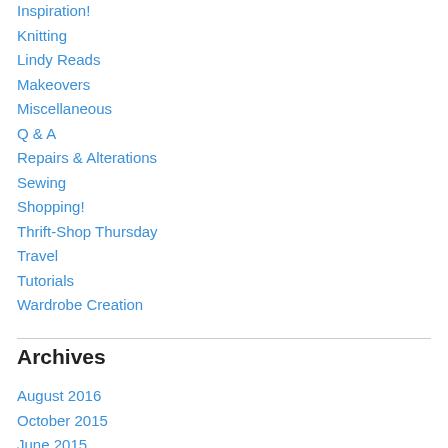Inspiration!
Knitting
Lindy Reads
Makeovers
Miscellaneous
Q & A
Repairs & Alterations
Sewing
Shopping!
Thrift-Shop Thursday
Travel
Tutorials
Wardrobe Creation
Archives
August 2016
October 2015
June 2015